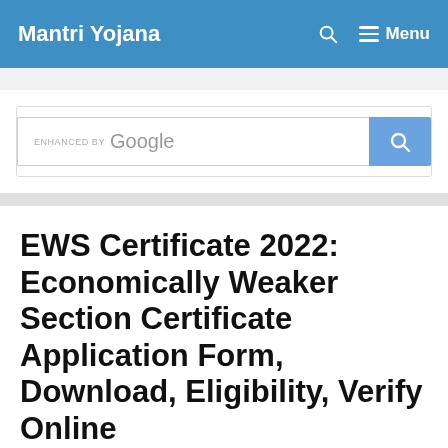Mantri Yojana   🔍   ≡ Menu
[Figure (other): Google enhanced search bar with search button]
EWS Certificate 2022: Economically Weaker Section Certificate Application Form, Download, Eligibility, Verify Online